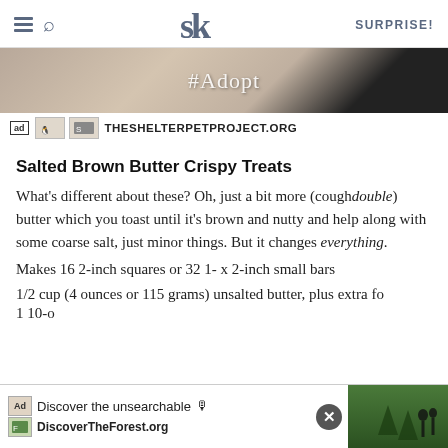SK SURPRISE!
[Figure (photo): Advertisement banner image showing a cat with #AdoptMe text and shelter pet project branding. Ad | THESHELTERPETPROJECT.ORG]
Salted Brown Butter Crispy Treats
What's different about these? Oh, just a bit more (cough double) butter which you toast until it's brown and nutty and help along with some coarse salt, just minor things. But it changes everything.
Makes 16 2-inch squares or 32 1- x 2-inch small bars
1/2 cup (4 ounces or 115 grams) unsalted butter, plus extra fo
1 10-o
[Figure (screenshot): Ad overlay banner: Discover the unsearchable / DiscoverTheForest.org with forest photo and close button]